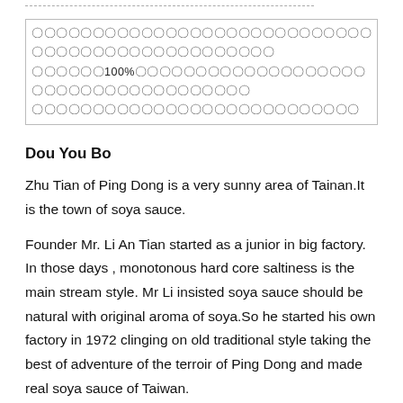（CJK text block — garbled characters representing Chinese text about product description）
Dou You Bo
Zhu Tian of Ping Dong is a very sunny area of Tainan.It is the town of soya sauce.
Founder Mr. Li An Tian started as a junior in big factory. In those days , monotonous hard core saltiness is the main stream style. Mr Li insisted soya sauce should be natural with original aroma of soya.So he started his own factory in 1972 clinging on old traditional style taking the best of adventure of the terroir of Ping Dong and made real soya sauce of Taiwan.